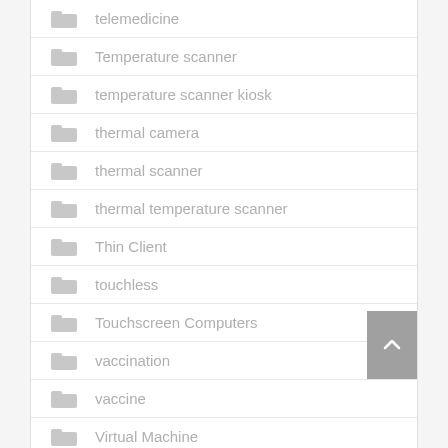telemedicine
Temperature scanner
temperature scanner kiosk
thermal camera
thermal scanner
thermal temperature scanner
Thin Client
touchless
Touchscreen Computers
vaccination
vaccine
Virtual Machine